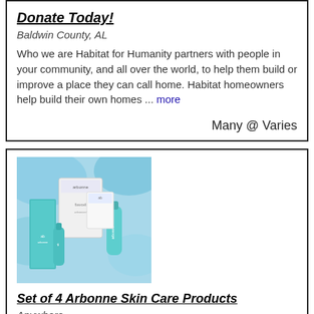Donate Today!
Baldwin County, AL
Who we are Habitat for Humanity partners with people in your community, and all over the world, to help them build or improve a place they can call home. Habitat homeowners help build their own homes ... more
Many @ Varies
[Figure (photo): Photo of a set of 4 Arbonne skin care products including boxes and bottles with teal/white packaging on a blue marbled background]
Set of 4 Arbonne Skin Care Products
Anywhere
Set of 4 Arbonne Skin Care Products 1oz Super